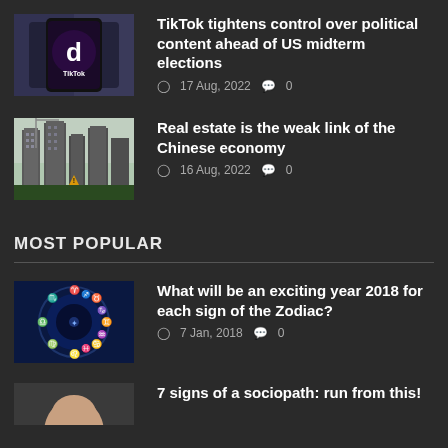[Figure (photo): TikTok app on a smartphone in a jeans pocket]
TikTok tightens control over political content ahead of US midterm elections
17 Aug, 2022  0
[Figure (photo): Construction cranes and high-rise buildings under construction]
Real estate is the weak link of the Chinese economy
16 Aug, 2022  0
MOST POPULAR
[Figure (photo): Zodiac wheel with astrological signs on dark blue background]
What will be an exciting year 2018 for each sign of the Zodiac?
7 Jan, 2018  0
[Figure (photo): Person photo partially visible]
7 signs of a sociopath: run from this!